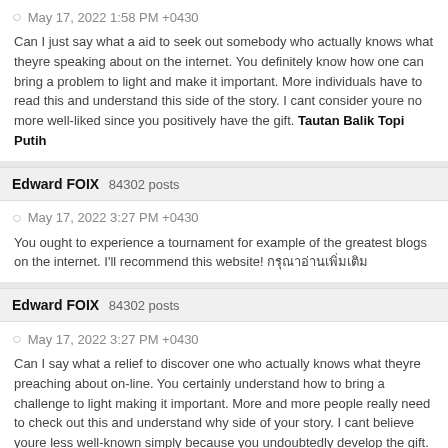May 17, 2022 1:58 PM +0430
Can I just say what a aid to seek out somebody who actually knows what theyre speaking about on the internet. You definitely know how one can bring a problem to light and make it important. More individuals have to read this and understand this side of the story. I cant consider youre no more well-liked since you positively have the gift. Tautan Balik Topi Putih
Edward FOIX  84302 posts
May 17, 2022 3:27 PM +0430
You ought to experience a tournament for example of the greatest blogs on the internet. I'll recommend this website! กรุณาอ่านเพิ่มเติม
Edward FOIX  84302 posts
May 17, 2022 3:27 PM +0430
Can I say what a relief to discover one who actually knows what theyre preaching about on-line. You certainly understand how to bring a challenge to light making it important. More and more people really need to check out this and understand why side of your story. I cant believe youre less well-known simply because you undoubtedly develop the gift. กรุณาอ่านเพิ่มเติม
Edward FOIX  84302 posts